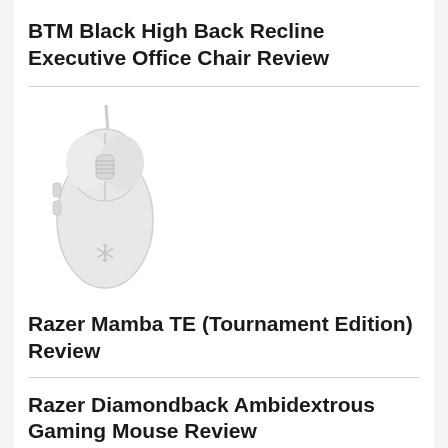BTM Black High Back Recline Executive Office Chair Review
[Figure (photo): White Razer gaming mouse (Razer Mamba TE / Tournament Edition) viewed from above against white background, with cable visible at top]
Razer Mamba TE (Tournament Edition) Review
Razer Diamondback Ambidextrous Gaming Mouse Review